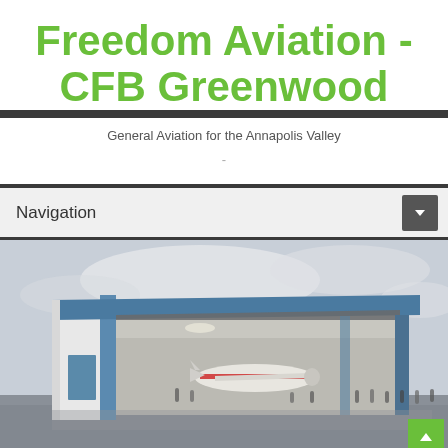Freedom Aviation - CFB Greenwood
General Aviation for the Annapolis Valley
-
Navigation
[Figure (photo): Photograph of an aviation hangar with blue metal exterior, bi-fold doors open revealing small aircraft inside, people standing on wet tarmac in front of the hangar on a cloudy day]